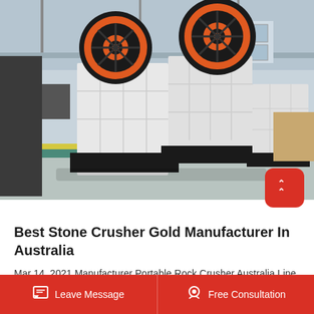[Figure (photo): Industrial factory interior showing multiple large jaw stone crushers with black steel frames and orange/black flywheels lined up on a concrete floor in a large warehouse building]
Best Stone Crusher Gold Manufacturer In Australia
Mar 14, 2021 Manufacturer Portable Rock Crusher Australia Line - Henan Factory Supply Best Price Portable Jaw Stone Crushers Plant. Senya Tech LTD - Top Manufacturer of Micro